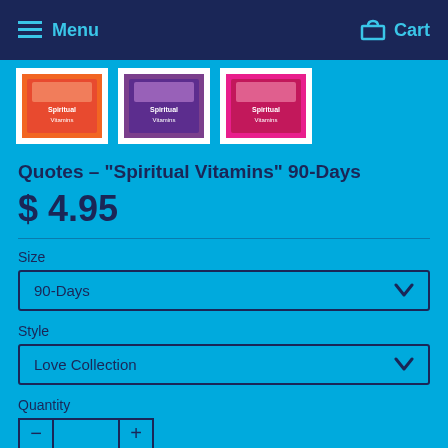Menu   Cart
[Figure (photo): Three product box thumbnails for Spiritual Vitamins quote cards]
Quotes – "Spiritual Vitamins" 90-Days
$ 4.95
Size
90-Days
Style
Love Collection
Quantity